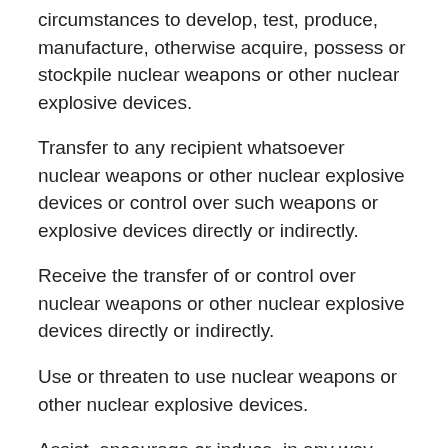circumstances to develop, test, produce, manufacture, otherwise acquire, possess or stockpile nuclear weapons or other nuclear explosive devices.
Transfer to any recipient whatsoever nuclear weapons or other nuclear explosive devices or control over such weapons or explosive devices directly or indirectly.
Receive the transfer of or control over nuclear weapons or other nuclear explosive devices directly or indirectly.
Use or threaten to use nuclear weapons or other nuclear explosive devices.
Assist, encourage or induce, in any way, anyone to engage in any activity prohibited to a State Party under this Treaty.